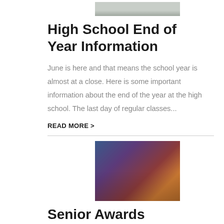[Figure (photo): A group of people in what appears to be an outdoor setting, likely students or faculty at a high school]
High School End of Year Information
June is here and that means the school year is almost at a close. Here is some important information about the end of the year at the high school. The last day of regular classes...
READ MORE >
[Figure (photo): People on a stage with a red curtain backdrop, likely an awards ceremony]
Senior Awards